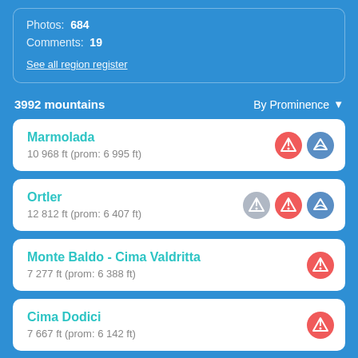Photos: 684
Comments: 19
See all region register
3992 mountains
By Prominence ▼
Marmolada
10 968 ft (prom: 6 995 ft)
Ortler
12 812 ft (prom: 6 407 ft)
Monte Baldo - Cima Valdritta
7 277 ft (prom: 6 388 ft)
Cima Dodici
7 667 ft (prom: 6 142 ft)